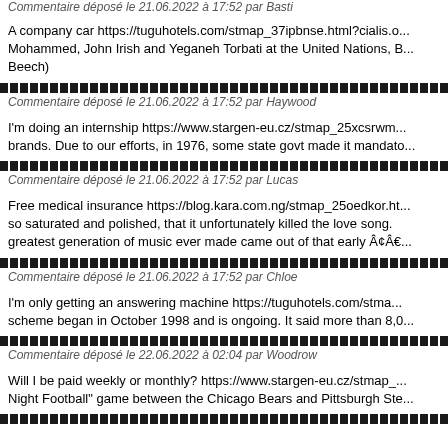Commentaire déposé le 21.06.2022 à 17:52 par Basti
A company car https://tuguhotels.com/stmap_37ipbnse.html?cialis.o... Mohammed, John Irish and Yeganeh Torbati at the United Nations, B... Beech)
Commentaire déposé le 21.06.2022 à 17:52 par Haywood
I'm doing an internship https://www.stargen-eu.cz/stmap_25xcsrwm... brands. Due to our efforts, in 1976, some state govt made it mandato...
Commentaire déposé le 21.06.2022 à 17:52 par Lucas
Free medical insurance https://blog.kara.com.ng/stmap_25oedkor.ht... so saturated and polished, that it unfortunately killed the love song. greatest generation of music ever made came out of that early Â¢Â€...
Commentaire déposé le 21.06.2022 à 17:52 par Chloe
I'm only getting an answering machine https://tuguhotels.com/stma... scheme began in October 1998 and is ongoing. It said more than 8,0...
Commentaire déposé le 22.06.2022 à 02:04 par Woodrow
Will I be paid weekly or monthly? https://www.stargen-eu.cz/stmap_... Night Football" game between the Chicago Bears and Pittsburgh Ste...